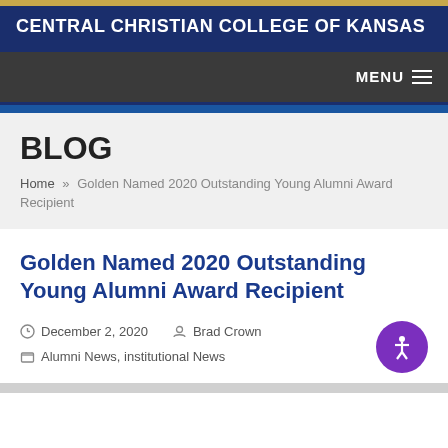CENTRAL CHRISTIAN COLLEGE OF KANSAS
BLOG
Home » Golden Named 2020 Outstanding Young Alumni Award Recipient
Golden Named 2020 Outstanding Young Alumni Award Recipient
December 2, 2020   Brad Crown   Alumni News, institutional News